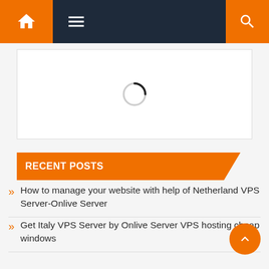Navigation bar with home, menu, and search icons
[Figure (screenshot): Loading spinner (circular progress indicator) centered in a white bordered box]
RECENT POSTS
How to manage your website with help of Netherland VPS Server-Onlive Server
Get Italy VPS Server by Onlive Server VPS hosting cheap windows
Get a Powerful Canada Dedicated Server with Amazing features from Onlive Server
Malaysia VPS Server with Unlimited Bandwidth by Onlive